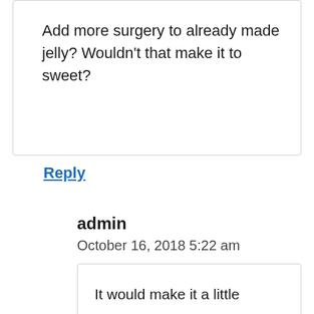Add more surgery to already made jelly? Wouldn't that make it to sweet?
Reply
admin
October 16, 2018 5:22 am
It would make it a little